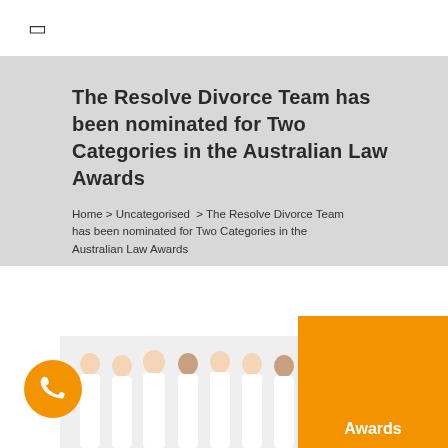☰
The Resolve Divorce Team has been nominated for Two Categories in the Australian Law Awards
Home > Uncategorised  > The Resolve Divorce Team has been nominated for Two Categories in the Australian Law Awards
[Figure (photo): Group photo of the Resolve Divorce Team — seven women dressed in white, posed together against a white background]
[Figure (illustration): Orange circular phone/call button icon]
Awards